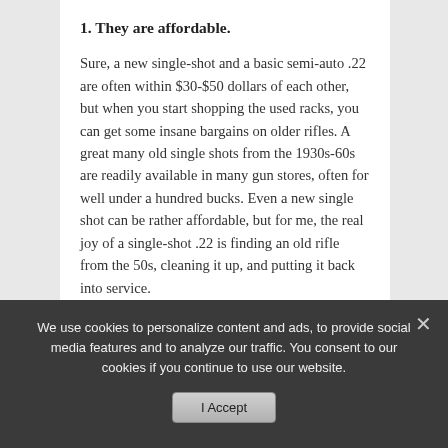1. They are affordable.
Sure, a new single-shot and a basic semi-auto .22 are often within $30-$50 dollars of each other, but when you start shopping the used racks, you can get some insane bargains on older rifles. A great many old single shots from the 1930s-60s are readily available in many gun stores, often for well under a hundred bucks. Even a new single shot can be rather affordable, but for me, the real joy of a single-shot .22 is finding an old rifle from the 50s, cleaning it up, and putting it back into service.
2. They are economical.
We use cookies to personalize content and ads, to provide social media features and to analyze our traffic. You consent to our cookies if you continue to use our website.